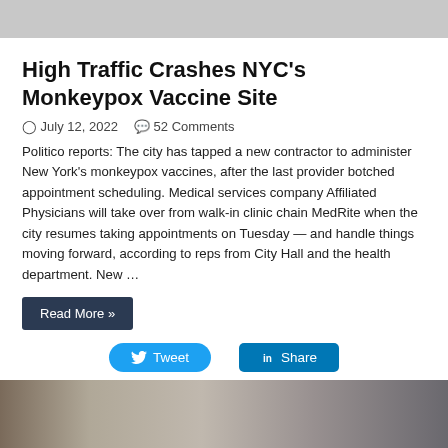[Figure (photo): Gray banner image at top of page]
High Traffic Crashes NYC's Monkeypox Vaccine Site
July 12, 2022   52 Comments
Politico reports: The city has tapped a new contractor to administer New York's monkeypox vaccines, after the last provider botched appointment scheduling. Medical services company Affiliated Physicians will take over from walk-in clinic chain MedRite when the city resumes taking appointments on Tuesday — and handle things moving forward, according to reps from City Hall and the health department. New …
Read More »
Tweet   Share
[Figure (photo): Photo of an older man with gray hair, with a flag visible on the left and bookshelves on the right]